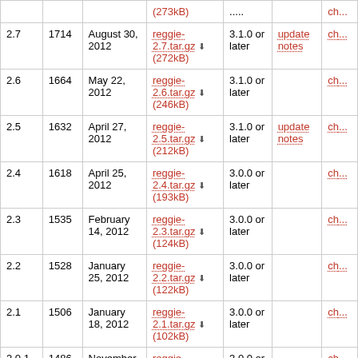| Version | Rev | Date | Download | Compat | Notes | Ch... |
| --- | --- | --- | --- | --- | --- | --- |
|  |  |  | (273kB) | ... |  | ch... |
| 2.7 | 1714 | August 30, 2012 | reggie-2.7.tar.gz (272kB) | 3.1.0 or later | update notes | ch... |
| 2.6 | 1664 | May 22, 2012 | reggie-2.6.tar.gz (246kB) | 3.1.0 or later |  | ch... |
| 2.5 | 1632 | April 27, 2012 | reggie-2.5.tar.gz (212kB) | 3.1.0 or later | update notes | ch... |
| 2.4 | 1618 | April 25, 2012 | reggie-2.4.tar.gz (193kB) | 3.0.0 or later |  | ch... |
| 2.3 | 1535 | February 14, 2012 | reggie-2.3.tar.gz (124kB) | 3.0.0 or later |  | ch... |
| 2.2 | 1528 | January 25, 2012 | reggie-2.2.tar.gz (122kB) | 3.0.0 or later |  | ch... |
| 2.1 | 1506 | January 18, 2012 | reggie-2.1.tar.gz (102kB) | 3.0.0 or later |  | ch... |
| 2.0.1 | 1486 | November 30, 2011 | reggie-2.0.1.tar.gz (89kB) | 3.0.0 or later |  | ch... |
| 2.0 | 1465 | November 14, 2011 | reggie-2.0.tar.gz (89kB) | 3.0.0 or later |  | ch... |